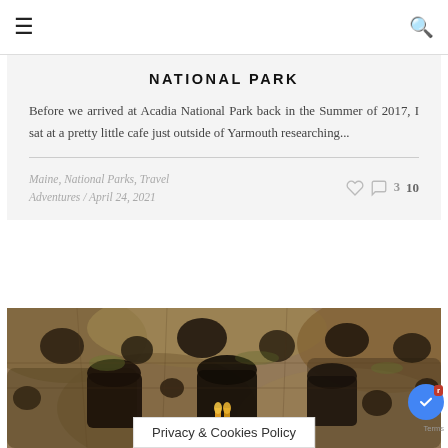≡   🔍
NATIONAL PARK
Before we arrived at Acadia National Park back in the Summer of 2017, I sat at a pretty little cafe just outside of Yarmouth researching...
Maine, National Parks, Travel Adventures / April 24, 2021   ♡  💬 3  10
[Figure (photo): Rocky cave dwellings or carved stone structures with multiple openings, photographed close up]
Privacy & Cookies Policy